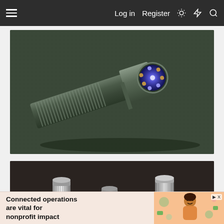Log in  Register
[Figure (photo): A dark metallic flashlight (torch) with ridged grip body, lying diagonally on a dark green textured surface. The front face shows blue LED emitters arranged in a circular pattern.]
[Figure (photo): Three metallic flashlight components or body tubes standing upright on a dark brown surface, showing the disassembled parts of a small EDC flashlight.]
Connected operations are vital for nonprofit impact